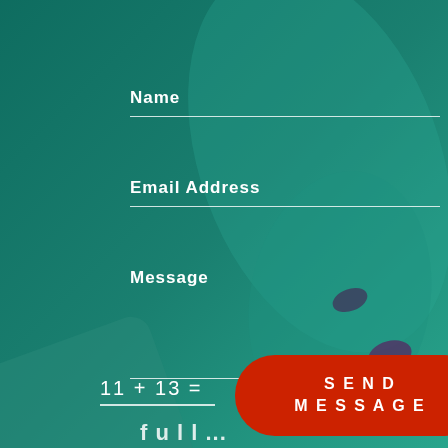Name
Email Address
Message
11 + 13 =
SEND MESSAGE
full...